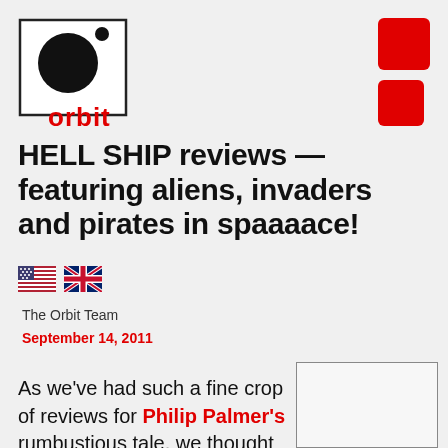[Figure (logo): Orbit Books logo: black circle with small dot in a rectangle, with 'orbit' text in red below]
[Figure (illustration): Two red rounded squares stacked vertically in top-right corner]
HELL SHIP reviews — featuring aliens, invaders and pirates in spaaaace!
[Figure (illustration): US flag emoji and UK flag emoji side by side]
The Orbit Team
September 14, 2011
As we've had such a fine crop of reviews for Philip Palmer's rumbustious tale, we thought it was only fair to share. Click on the following links for
[Figure (other): Empty bordered rectangle placeholder for an image]